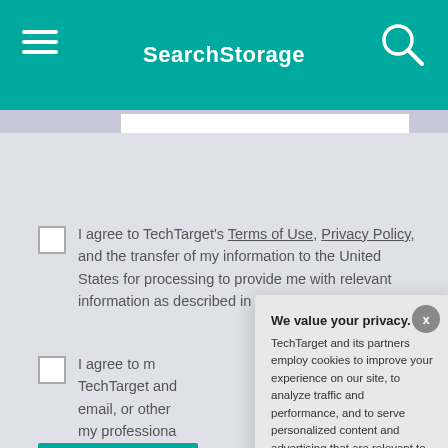SearchStorage
I agree to TechTarget's Terms of Use, Privacy Policy, and the transfer of my information to the United States for processing to provide me with relevant information as described in our Privacy Policy.
I agree to m... TechTarget and ... email, or other ... my professional...
[Figure (screenshot): Privacy consent modal dialog with title 'We value your privacy.' and body text about TechTarget cookies, with OK and Settings buttons]
We value your privacy. TechTarget and its partners employ cookies to improve your experience on our site, to analyze traffic and performance, and to serve personalized content and advertising that are relevant to your professional interests. You can manage your settings at any time. Please view our Privacy Policy for more information